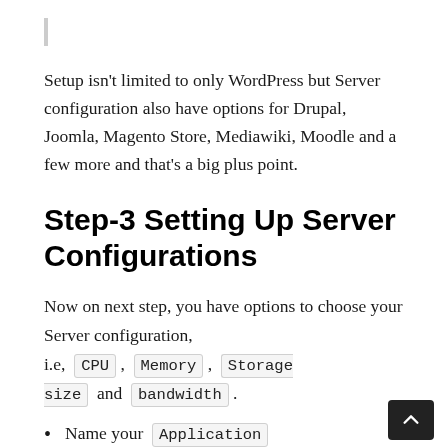Setup isn't limited to only WordPress but Server configuration also have options for Drupal, Joomla, Magento Store, Mediawiki, Moodle and a few more and that's a big plus point.
Step-3 Setting Up Server Configurations
Now on next step, you have options to choose your Server configuration, i.e, CPU , Memory , Storage size and bandwidth .
Name your Application